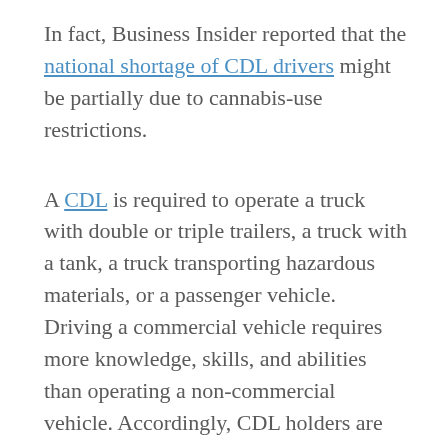In fact, Business Insider reported that the national shortage of CDL drivers might be partially due to cannabis-use restrictions.
A CDL is required to operate a truck with double or triple trailers, a truck with a tank, a truck transporting hazardous materials, or a passenger vehicle. Driving a commercial vehicle requires more knowledge, skills, and abilities than operating a non-commercial vehicle. Accordingly, CDL holders are held to a higher standard than other drivers regarding impairment and traffic violations.
This article will cover everything you need to know about CDL and cannabis.